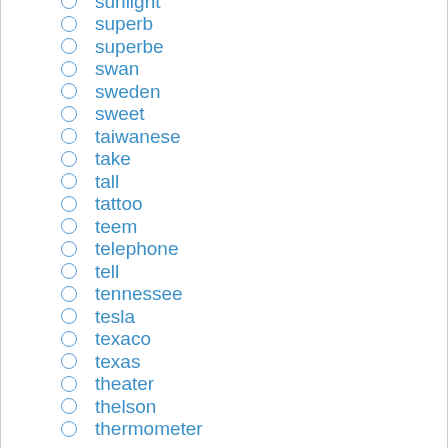sunlight
superb
superbe
swan
sweden
sweet
taiwanese
take
tall
tattoo
teem
telephone
tell
tennessee
tesla
texaco
texas
theater
thelson
thermometer